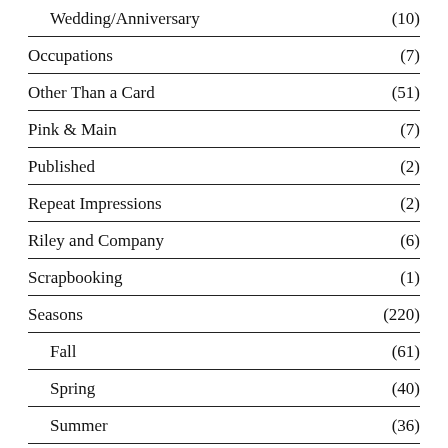Wedding/Anniversary (10)
Occupations (7)
Other Than a Card (51)
Pink & Main (7)
Published (2)
Repeat Impressions (2)
Riley and Company (6)
Scrapbooking (1)
Seasons (220)
Fall (61)
Spring (40)
Summer (36)
Winter (96)